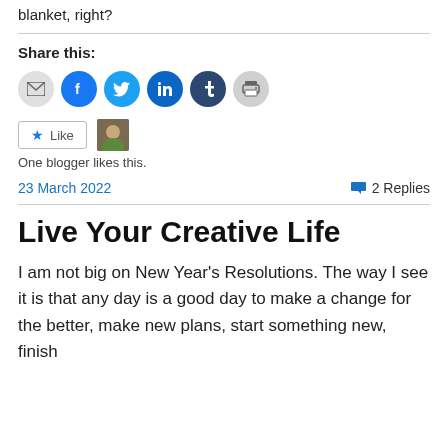blanket, right?
Share this:
[Figure (infographic): Row of social share icon buttons: email (gray), Facebook (blue), Twitter (light blue), LinkedIn (dark blue), Tumblr (dark navy), print (gray)]
[Figure (infographic): Like button with star icon and a blogger avatar thumbnail next to it]
One blogger likes this.
23 March 2022
2 Replies
Live Your Creative Life
I am not big on New Year’s Resolutions.  The way I see it is that any day is a good day to make a change for the better, make new plans, start something new, finish